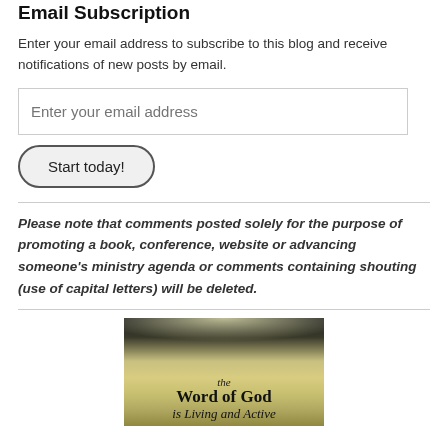Email Subscription
Enter your email address to subscribe to this blog and receive notifications of new posts by email.
[Figure (screenshot): Email address input field with placeholder text 'Enter your email address']
[Figure (screenshot): Button labeled 'Start today!']
Please note that comments posted solely for the purpose of promoting a book, conference, website or advancing someone’s ministry agenda or comments containing shouting (use of capital letters) will be deleted.
[Figure (photo): Book cover image showing text 'the Word of God is Living and Active']